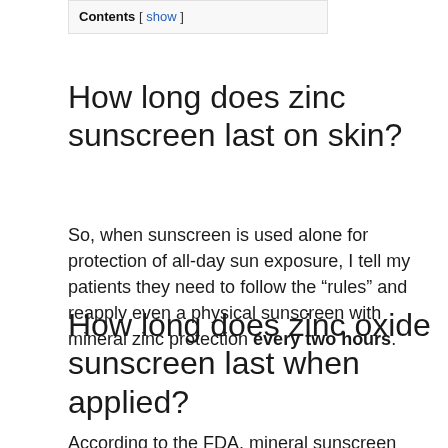Contents [ show ]
How long does zinc sunscreen last on skin?
So, when sunscreen is used alone for protection of all-day sun exposure, I tell my patients they need to follow the “rules” and reapply even a physical sunscreen with mineral zinc protection every two hours.
How long does zinc oxide sunscreen last when applied?
According to the FDA, mineral sunscreen